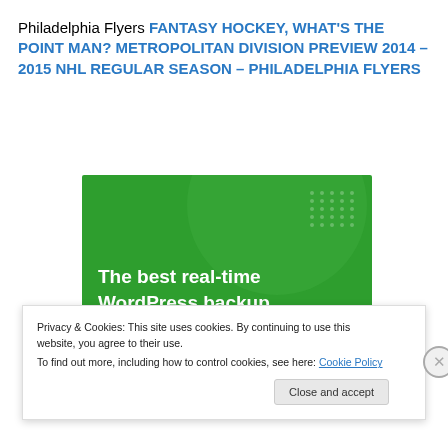Philadelphia Flyers FANTASY HOCKEY, WHAT'S THE POINT MAN? METROPOLITAN DIVISION PREVIEW 2014 – 2015 NHL REGULAR SEASON – PHILADELPHIA FLYERS
[Figure (illustration): Green advertisement banner for WordPress backup plugin reading 'The best real-time WordPress backup plugin' with decorative circle and dots on green background, blue bar at bottom]
Privacy & Cookies: This site uses cookies. By continuing to use this website, you agree to their use.
To find out more, including how to control cookies, see here: Cookie Policy